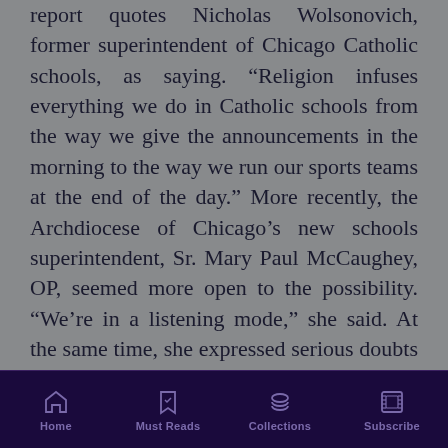report quotes Nicholas Wolsonovich, former superintendent of Chicago Catholic schools, as saying. “Religion infuses everything we do in Catholic schools from the way we give the announcements in the morning to the way we run our sports teams at the end of the day.” More recently, the Archdiocese of Chicago’s new schools superintendent, Sr. Mary Paul McCaughey, OP, seemed more open to the possibility. “We’re in a listening mode,” she said. At the same time, she expressed serious doubts about the charter-school option. “It could be perceived as abandonment,” she said, emphasizing that any charter school would have to be closely connected to a Catholic entity for the proposal to be considered.
Home | Must Reads | Collections | Subscribe